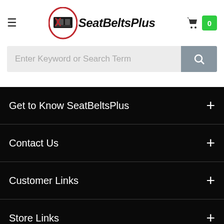[Figure (logo): SeatBeltsPlus website header with hamburger menu, logo with circular emblem and italic bold brand name, and shopping cart with badge showing 0]
Enter Keyword or Search Term
Get to Know SeatBeltsPlus
Contact Us
Customer Links
Store Links
Follow Us